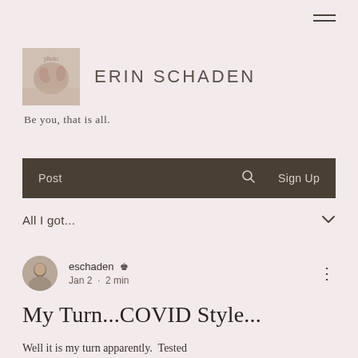[Figure (screenshot): Hamburger menu icon (three horizontal lines) in top right corner]
ERIN SCHADEN
Be you, that is all.
Post   Search   Sign Up
All I got...
eschaden  Jan 2 · 2 min
My Turn...COVID Style...
Well it is my turn apparently.  Tested